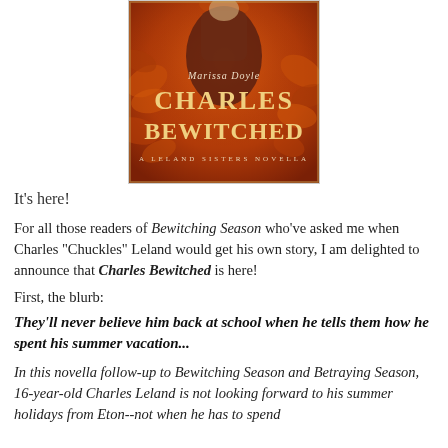[Figure (illustration): Book cover for 'Charles Bewitched: A Leland Sisters Novella' by Marissa Doyle. Orange/red autumnal background with decorative floral elements and a figure in period dress. Title text in large serif font.]
It's here!
For all those readers of Bewitching Season who've asked me when Charles "Chuckles" Leland would get his own story, I am delighted to announce that Charles Bewitched is here!
First, the blurb:
They'll never believe him back at school when he tells them how he spent his summer vacation...
In this novella follow-up to Bewitching Season and Betraying Season, 16-year-old Charles Leland is not looking forward to his summer holidays from Eton--not when he has to spend